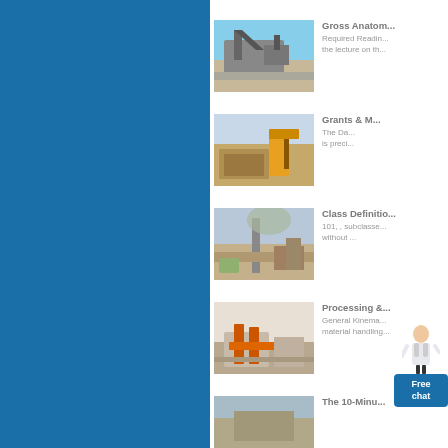[Figure (photo): Mining conveyor belt equipment against blue sky]
Gross Anatomy
Required Reading the lecture on the...
[Figure (photo): Open pit mining with yellow excavator machinery]
Grants & W...
The Da... is preci...
[Figure (photo): Mining site with large chimney and arid landscape]
Class Definition
101, , subclasses without ...
[Figure (photo): Open-air mining processing equipment with orange structures]
Processing &
General Kinema... material handling...
[Figure (photo): Mining landscape partially visible at bottom]
The 10-Minu...